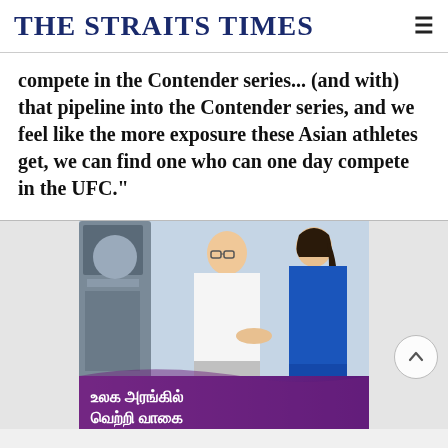THE STRAITS TIMES
compete in the Contender series... (and with) that pipeline into the Contender series, and we feel like the more exposure these Asian athletes get, we can find one who can one day compete in the UFC."
[Figure (photo): Advertisement photo showing a man in a white shirt speaking with a woman in a blue uniform next to a machine. Below is a purple banner with Tamil text reading 'உலக அரங்கில் வெற்றி வாகை'.]